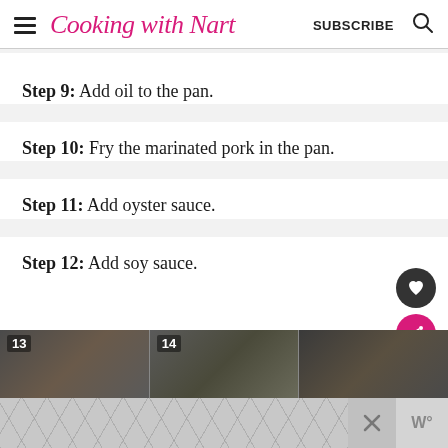Cooking with Nart | SUBSCRIBE
Step 9: Add oil to the pan.
Step 10: Fry the marinated pork in the pan.
Step 11: Add oyster sauce.
Step 12: Add soy sauce.
[Figure (photo): Cooking process steps 13 and 14, showing hands cooking marinated pork in a pan on a stovetop, with numbered photo thumbnails side by side]